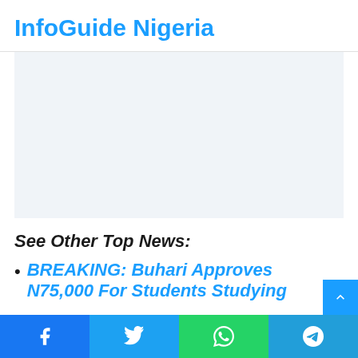InfoGuide Nigeria
[Figure (other): Advertisement / blank ad placeholder area]
See Other Top News:
BREAKING: Buhari Approves N75,000 For Students Studying...